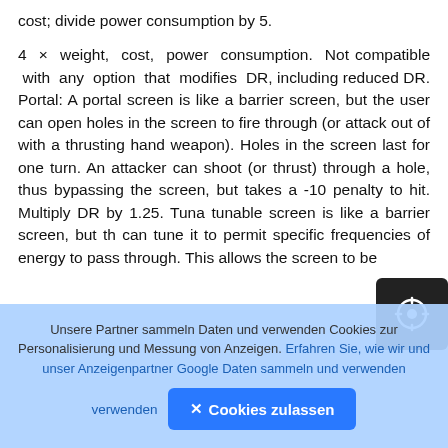cost; divide power consumption by 5.
4 × weight, cost, power consumption. Not compatible with any option that modifies DR, including reduced DR. Portal: A portal screen is like a barrier screen, but the user can open holes in the screen to fire through (or attack out of with a thrusting hand weapon). Holes in the screen last for one turn. An attacker can shoot (or thrust) through a hole, thus bypassing the screen, but takes a -10 penalty to hit. Multiply DR by 1.25. Tuna tunable screen is like a barrier screen, but th can tune it to permit specific frequencies of energy to pass through. This allows the screen to be
Unsere Partner sammeln Daten und verwenden Cookies zur Personalisierung und Messung von Anzeigen. Erfahren Sie, wie wir und unser Anzeigenpartner Google Daten sammeln und verwenden